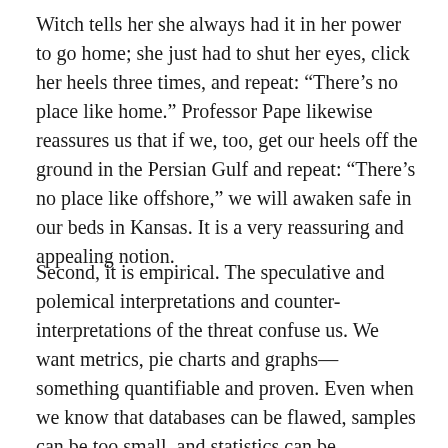Witch tells her she always had it in her power to go home; she just had to shut her eyes, click her heels three times, and repeat: “There’s no place like home.” Professor Pape likewise reassures us that if we, too, get our heels off the ground in the Persian Gulf and repeat: “There’s no place like offshore,” we will awaken safe in our beds in Kansas. It is a very reassuring and appealing notion.
Second, it is empirical. The speculative and polemical interpretations and counter-interpretations of the threat confuse us. We want metrics, pie charts and graphs—something quantifiable and proven. Even when we know that databases can be flawed, samples can be too small, and statistics can be misleading, we still perk up